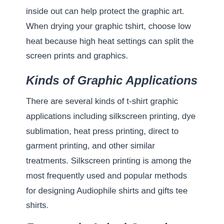inside out can help protect the graphic art. When drying your graphic tshirt, choose low heat because high heat settings can split the screen prints and graphics.
Kinds of Graphic Applications
There are several kinds of t-shirt graphic applications including silkscreen printing, dye sublimation, heat press printing, direct to garment printing, and other similar treatments. Silkscreen printing is among the most frequently used and popular methods for designing Audiophile shirts and gifts tee shirts.
Frequently Asked Questions (FAQs)
Question: Are Audiophile shirts and gifts shirts true to